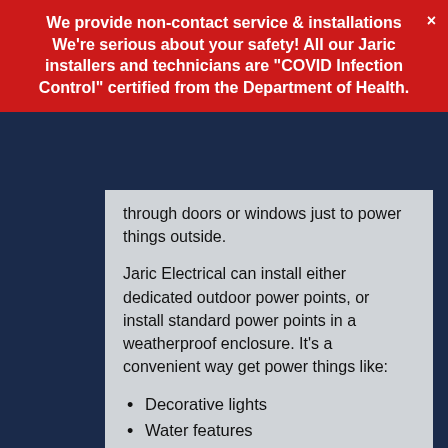We provide non-contact service & installations We're serious about your safety! All our Jaric installers and technicians are "COVID Infection Control" certified from the Department of Health.
through doors or windows just to power things outside.
Jaric Electrical can install either dedicated outdoor power points, or install standard power points in a weatherproof enclosure. It's a convenient way get power things like:
Decorative lights
Water features
Tank pumps
We can even install a high rated point for your caravan.
The Jaric Electrical team will look for opportunities to save you money on your outdoor power point installation. For example,